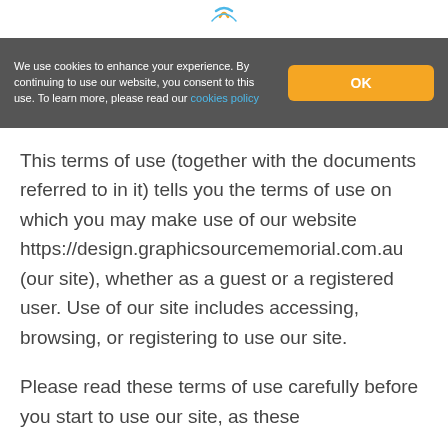[Figure (logo): Website logo with teal/yellow stylized mark at top center]
We use cookies to enhance your experience. By continuing to use our website, you consent to this use. To learn more, please read our cookies policy
OK
This terms of use (together with the documents referred to in it) tells you the terms of use on which you may make use of our website https://design.graphicsourcememorial.com.au (our site), whether as a guest or a registered user. Use of our site includes accessing, browsing, or registering to use our site.
Please read these terms of use carefully before you start to use our site, as these